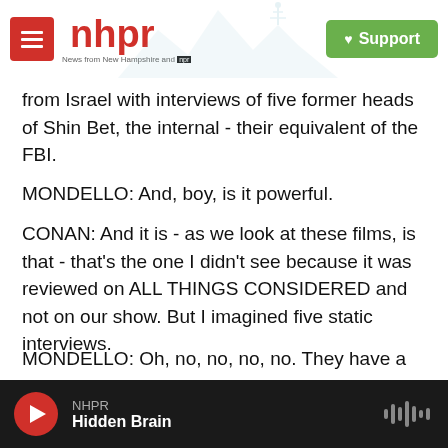nhpr — News from New Hampshire and NPR | Support
from Israel with interviews of five former heads of Shin Bet, the internal - their equivalent of the FBI.
MONDELLO: And, boy, is it powerful.
CONAN: And it is - as we look at these films, is that - that's the one I didn't see because it was reviewed on ALL THINGS CONSIDERED and not on our show. But I imagined five static interviews.
MONDELLO: Oh, no, no, no, no. They have a lot of reenactments of events, a lot of footage of events, a lot of footage from satellite, where you're watching things crashing. It's - it's quite a picture...
NHPR | Hidden Brain